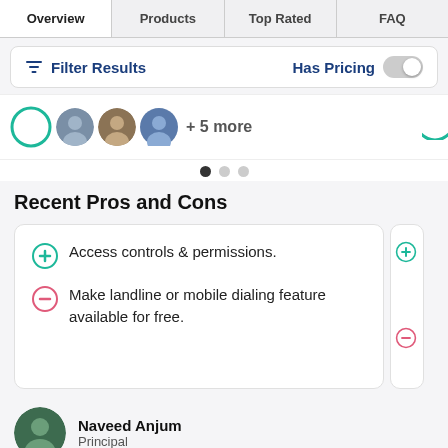Overview | Products | Top Rated | FAQ
Filter Results   Has Pricing
[Figure (screenshot): Avatar strip with circular profile photos and '+5 more' text, followed by pagination dots]
Recent Pros and Cons
Access controls & permissions.
Make landline or mobile dialing feature available for free.
Naveed Anjum
Principal